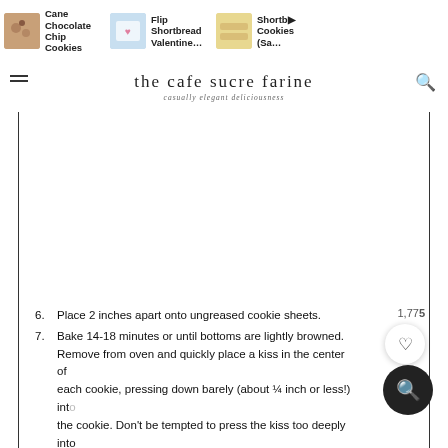the cafe sucre farine — casually elegant deliciousness — Navigation: Cane Chocolate Chip Cookies, Flip Shortbread Valentine..., Shortbread Cookies (Sa...)
[Figure (screenshot): Blank white image area within content box]
6. Place 2 inches apart onto ungreased cookie sheets.
7. Bake 14-18 minutes or until bottoms are lightly browned. Remove from oven and quickly place a kiss in the center of each cookie, pressing down barely (about ¼ inch or less!) into the cookie. Don't be tempted to press the kiss too deeply into the cookies as they will crack at the edges. If you do have any cracking, gently push the crack back together while the cookies are still warm.